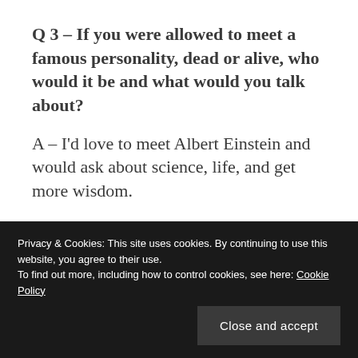Q 3 – If you were allowed to meet a famous personality, dead or alive, who would it be and what would you talk about?
A – I'd love to meet Albert Einstein and would ask about science, life, and get more wisdom.
Q 4 – Would you rather have a teleportation
Privacy & Cookies: This site uses cookies. By continuing to use this website, you agree to their use.
To find out more, including how to control cookies, see here: Cookie Policy
Close and accept
and see myself playing.  I'd travel into the future